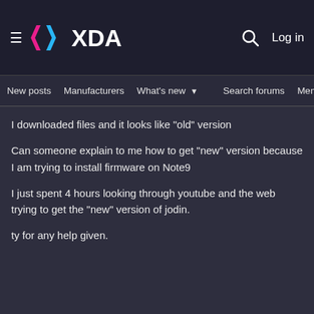XDA — New posts | Manufacturers | What's new | Search forums | Members | Log in
I downloaded files and it looks like "old" version

Can someone explain to me how to get "new" version because I am trying to install firmware on Note9

I just spent 4 hours looking through youtube and the web trying to get the "new" version of jodin.

ty for any help given.
zenetare45
DUDA WEBSITE BUILDER
Ad | An AMG Site